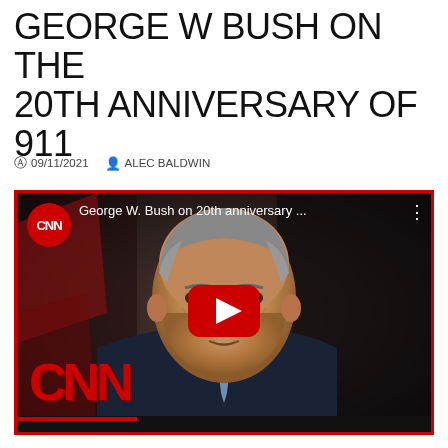GEORGE W BUSH ON THE 20TH ANNIVERSARY OF 911
09/11/2021   ALEC BALDWIN
[Figure (screenshot): YouTube video thumbnail from CNN showing George W. Bush at the 20th anniversary of 9/11. The thumbnail shows an older man in a dark suit with a blue tie, the CNN red circle logo in the upper left, video title 'George W. Bush on 20th anniversary ...' at top, a large red YouTube play button in the center, and a large red CNN logo in the lower left. A dark progress/bottom bar is at the very bottom. The frame has a red border.]